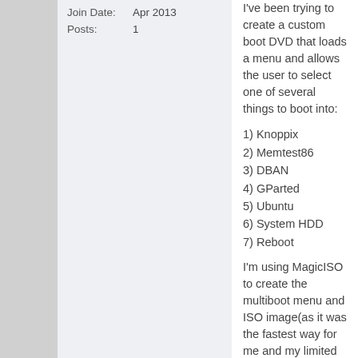Join Date: Apr 2013
Posts: 1
I've been trying to create a custom boot DVD that loads a menu and allows the user to select one of several things to boot into:
1) Knoppix
2) Memtest86
3) DBAN
4) GParted
5) Ubuntu
6) System HDD
7) Reboot
I'm using MagicISO to create the multiboot menu and ISO image(as it was the fastest way for me and my limited knowledge). Also, I'm using